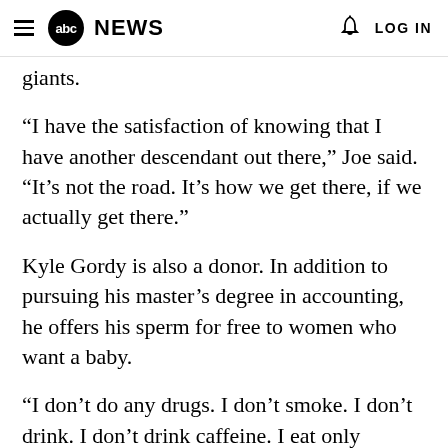abc NEWS  LOG IN
giants.
“I have the satisfaction of knowing that I have another descendant out there,” Joe said. “It’s not the road. It’s how we get there, if we actually get there.”
Kyle Gordy is also a donor. In addition to pursuing his master’s degree in accounting, he offers his sperm for free to women who want a baby.
“I don’t do any drugs. I don’t smoke. I don’t drink. I don’t drink caffeine. I eat only sperm-friendly food: wheat, brown rice … fruit and